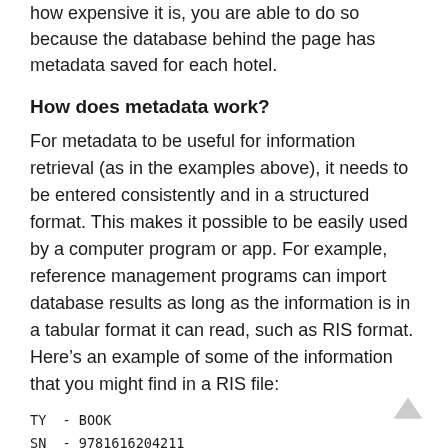how expensive it is, you are able to do so because the database behind the page has metadata saved for each hotel.
How does metadata work?
For metadata to be useful for information retrieval (as in the examples above), it needs to be entered consistently and in a structured format. This makes it possible to be easily used by a computer program or app. For example, reference management programs can import database results as long as the information is in a tabular format it can read, such as RIS format. Here’s an example of some of the information that you might find in a RIS file:
TY  - BOOK
SN  - 9781616204211
AU  - Olmsted, Larry
T1  - Real food fake food
PY  - 2016